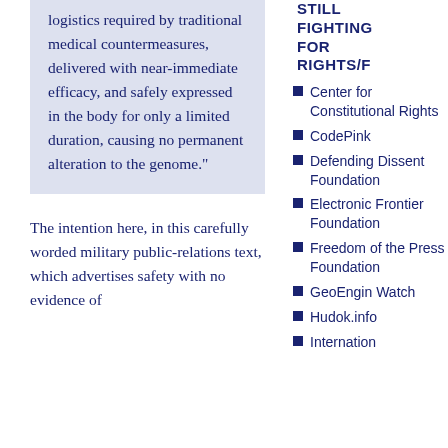logistics required by traditional medical countermeasures, delivered with near-immediate efficacy, and safely expressed in the body for only a limited duration, causing no permanent alteration to the genome."
The intention here, in this carefully worded military public-relations text, which advertises safety with no evidence of
STILL FIGHTING FOR RIGHTS/F
Center for Constitutional Rights
CodePink
Defending Dissent Foundation
Electronic Frontier Foundation
Freedom of the Press Foundation
GeoEngin Watch
Hudok.info
Internation